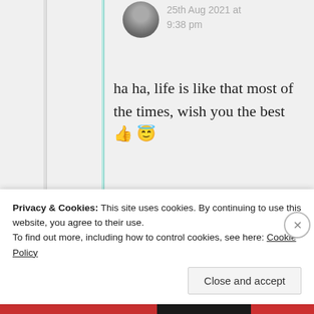25th Aug 2021 at 9:38 pm
ha ha, life is like that most of the times, wish you the best 👍 😇
★ Liked by 1 person
Rob
Privacy & Cookies: This site uses cookies. By continuing to use this website, you agree to their use.
To find out more, including how to control cookies, see here: Cookie Policy
Close and accept